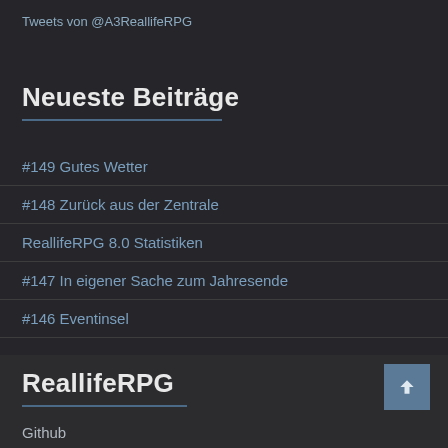Tweets von @A3ReallifeRPG
Neueste Beiträge
#149 Gutes Wetter
#148 Zurück aus der Zentrale
ReallifeRPG 8.0 Statistiken
#147 In eigener Sache zum Jahresende
#146 Eventinsel
ReallifeRPG
Github